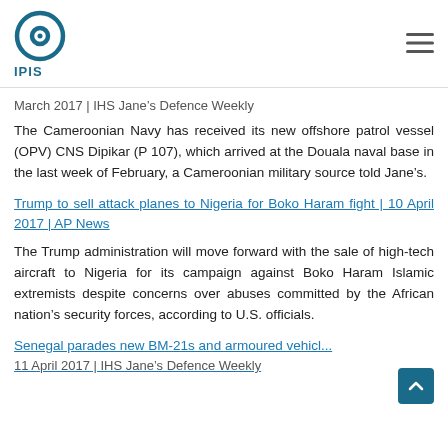IPIS logo and navigation menu
March 2017 | IHS Jane's Defence Weekly
The Cameroonian Navy has received its new offshore patrol vessel (OPV) CNS Dipikar (P 107), which arrived at the Douala naval base in the last week of February, a Cameroonian military source told Jane's.
Trump to sell attack planes to Nigeria for Boko Haram fight | 10 April 2017 | AP News
The Trump administration will move forward with the sale of high-tech aircraft to Nigeria for its campaign against Boko Haram Islamic extremists despite concerns over abuses committed by the African nation's security forces, according to U.S. officials.
Senegal parades new BM-21s and armoured vehicl... 11 April 2017 | IHS Jane's Defence Weekly